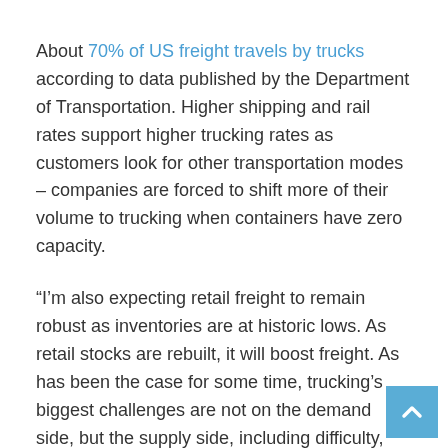About 70% of US freight travels by trucks according to data published by the Department of Transportation. Higher shipping and rail rates support higher trucking rates as customers look for other transportation modes – companies are forced to shift more of their volume to trucking when containers have zero capacity.
“I’m also expecting retail freight to remain robust as inventories are at historic lows. As retail stocks are rebuilt, it will boost freight. As has been the case for some time, trucking’s biggest challenges are not on the demand side, but the supply side, including difficulty, finding qualified drivers,” said ATA Chief Economist Bob Costello.
Higher New And Used Heavy-Duty Truck Prices Are A Result Of Supply Chain Issues